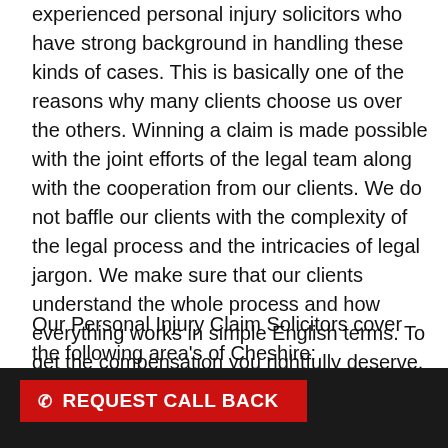experienced personal injury solicitors who have strong background in handling these kinds of cases. This is basically one of the reasons why many clients choose us over the others. Winning a claim is made possible with the joint efforts of the legal team along with the cooperation from our clients. We do not baffle our clients with the complexity of the legal process and the intricacies of legal jargon. We make sure that our clients understand the whole process and how everything works in simple English terms. To get the compensation you rightfully deserve, talk to our legal experts on the numbers listed below.
Our Personal Injury Claim Solicitors cover the following area's of Cheshire:
Chester Crewe Macclesfield Stockport Warrington
[Figure (other): Dark footer bar with a red REQUEST CALL BACK button featuring a phone icon]